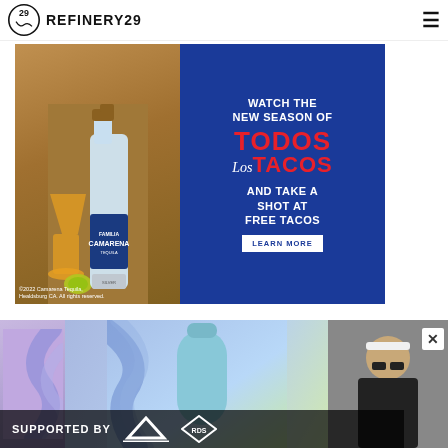REFINERY29
[Figure (photo): Camarena Tequila advertisement. Left side: photo of Camarena Tequila bottle with cocktails and limes. Right side: blue background with text 'WATCH THE NEW SEASON OF TODOS Los TACOS AND TAKE A SHOT AT FREE TACOS' with a LEARN MORE button. Copyright notice: ©2022 Camarena Tequila, Healdsburg CA. All rights reserved.]
[Figure (photo): Video advertisement with colorful gradient background (purple, blue, green), decorative swirl shapes, a light blue bottle/product in center, and a person on the right side. Bottom bar reads 'SUPPORTED BY adidas RDS' with logos. A close (X) button appears on the right.]